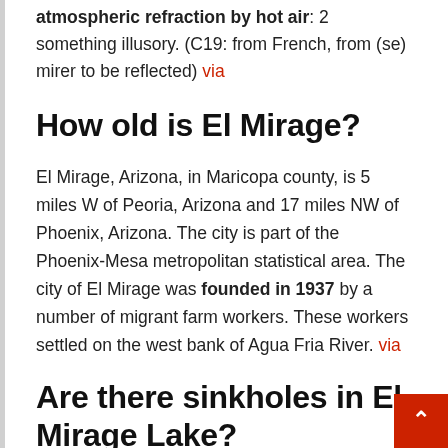atmospheric refraction by hot air: 2 something illusory. (C19: from French, from (se) mirer to be reflected) via
How old is El Mirage?
El Mirage, Arizona, in Maricopa county, is 5 miles W of Peoria, Arizona and 17 miles NW of Phoenix, Arizona. The city is part of the Phoenix-Mesa metropolitan statistical area. The city of El Mirage was founded in 1937 by a number of migrant farm workers. These workers settled on the west bank of Agua Fria River. via
Are there sinkholes in El Mirage Lake?